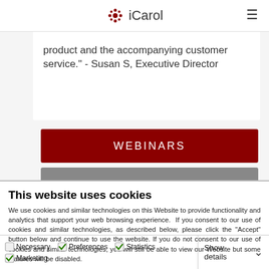iCarol
product and the accompanying customer service." - Susan S, Executive Director
WEBINARS
READ THE BLOG
This website uses cookies
We use cookies and similar technologies on this Website to provide functionality and analytics that support your web browsing experience.  If you consent to our use of cookies and similar technologies, as described below, please click the "Accept" button below and continue to use the website. If you do not consent to our use of cookies and similar technologies, you will still be able to view our Website but some features will be disabled.
Accept
Necessary   Preferences   Statistics   Marketing   Show details